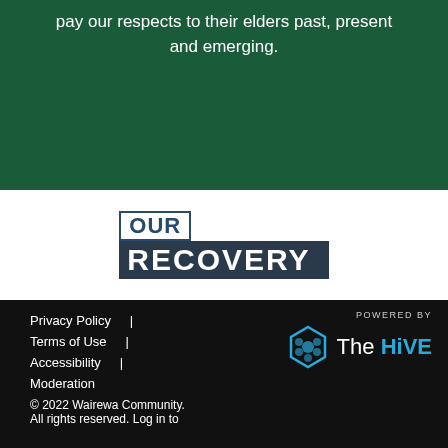pay our respects to their elders past, present and emerging.
[Figure (logo): OUR RECOVERY logo with 'OUR' in outlined box and 'RECOVERY' in bold white text on dark background]
[Figure (logo): Powered by The HiVE logo with hexagon icon and text]
Privacy Policy  |
Terms of Use  |
Accessibility  |
Moderation
© 2022 Wairewa Community. All rights reserved. Log in to